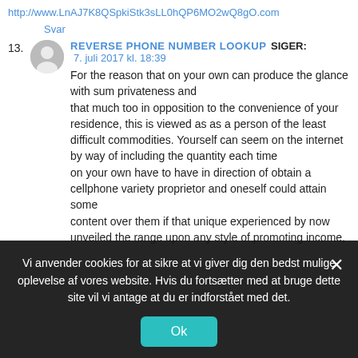http://www.LnAJ7K8QSpkiStk3sLL0hQP6MO2wQ8gO.com
Svar
13. REVERSE PHONE NUMBER LOOKUP SIGER: 7. juli 2017 kl. 18:39
For the reason that on your own can produce the glance with sum privateness and that much too in opposition to the convenience of your residence, this is viewed as as a person of the least difficult commodities. Yourself can seem on the internet by way of including the quantity each time on your own have to have in direction of obtain a cellphone variety proprietor and oneself could attain some content over them if that unique experienced by now unveiled the range upon any style of promoting income,
Vi anvender cookies for at sikre at vi giver dig den bedst mulige oplevelse af vores website. Hvis du fortsætter med at bruge dette site vil vi antage at du er indforstået med det.
Ok